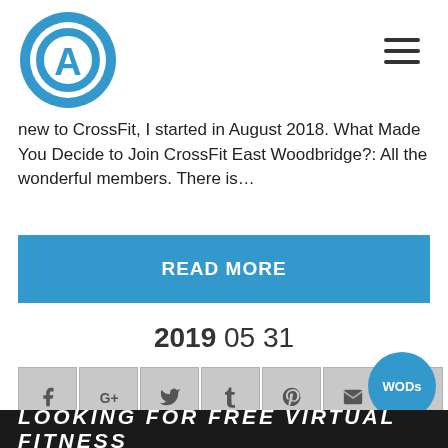[Figure (logo): CrossFit East Woodbridge circular logo with letter A in center, blue color]
new to CrossFit, I started in August 2018. What Made You Decide to Join CrossFit East Woodbridge?: All the wonderful members. There is…
READ MORE
2019 05 31
[Figure (infographic): Social sharing icons row: Facebook, Google+, Twitter, Tumblr, Pinterest, Email, LinkedIn]
WODs
LOOKING FOR FREE VIRTUAL FITNESS